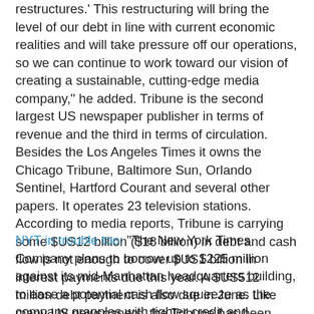restructures.' This restructuring will bring the level of our debt in line with current economic realities and will take pressure off our operations, so we can continue to work toward our vision of creating a sustainable, cutting-edge media company,' he added. Tribune is the second largest US newspaper publisher in terms of revenue and the third in terms of circulation. Besides the Los Angeles Times it owns the Chicago Tribune, Baltimore Sun, Orlando Sentinel, Hartford Courant and several other papers. It operates 23 television stations. According to media reports, Tribune is carrying some $US12 billion ($18 billion) in debt and cash flow is not enough to cover $US1 billion in interest payments due this year. A $US512 million debt payment is also due in June. Like many US newspapers, the Tribune has been grappling with declining circulation, a loss of readership to online media, and a steep drop in print advertising revenue."
NYT in trouble too: "The New York Times Company plans to borrow up to $225 million against its mid-Manhattan headquarters building, to ease a potential cash flow squeeze as the company grapples with tighter credit and shrinking profits. The company has retained Cushman & Wakefield,